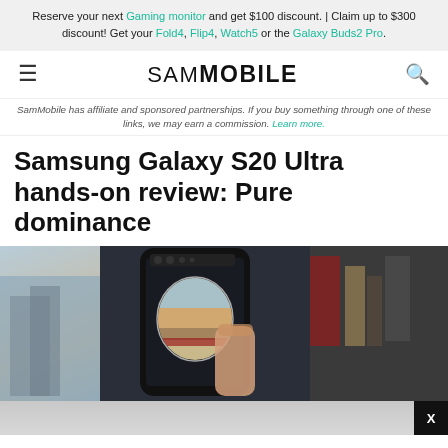Reserve your next Gaming monitor and get $100 discount. | Claim up to $300 discount! Get your Fold4, Flip4, Watch5 or the Galaxy Buds2 Pro.
SAMMOBILE
SamMobile has affiliate and sponsored partnerships. If you buy something through one of these links, we may earn a commission. Learn more.
Samsung Galaxy S20 Ultra hands-on review: Pure dominance
[Figure (photo): Hands holding a Samsung Galaxy S20 Ultra smartphone showing its camera viewfinder with a cityscape/landscape view, against a dark background with bookshelves visible on the right.]